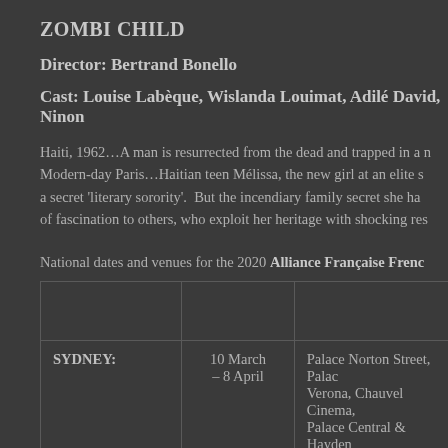ZOMBI CHILD
Director: Bertrand Bonello
Cast: Louise Labèque, Wislanda Louimat, Adilé David, Ninon…
Haiti, 1962…A man is resurrected from the dead and trapped in a n… Modern-day Paris…Haitian teen Mélissa, the new girl at an elite s… a secret 'literary sorority'. But the incendiary family secret she ha… of fascination to others, who exploit her heritage with shocking res…
National dates and venues for the 2020 Alliance Française Frenc…
|  |  |  |
| --- | --- | --- |
| SYDNEY: | 10 March – 8 April | Palace Norton Street, Palace Verona, Chauvel Cinema, Palace Central & Hayden Orpheum Cremorne |